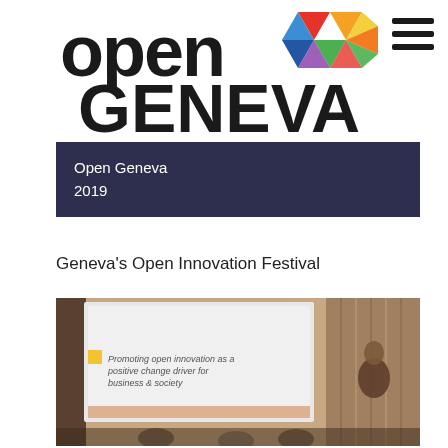[Figure (logo): Open Geneva logo with colorful geometric diamond shapes on the right and 'open GENEVA' text in black on white background]
Open Geneva
2019
Geneva's Open Innovation Festival
[Figure (photo): Conference presentation photo showing a projection screen with text 'Promoting open innovation as a positive change driver for business & society' and a presenter standing at the right side of a dark auditorium]